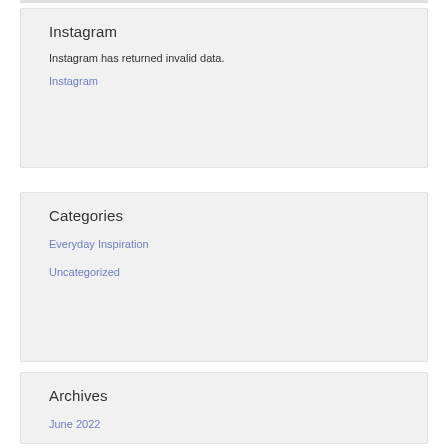Instagram
Instagram has returned invalid data.
Instagram
Categories
Everyday Inspiration
Uncategorized
Archives
June 2022